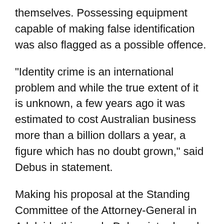themselves. Possessing equipment capable of making false identification was also flagged as a possible offence.
"Identity crime is an international problem and while the true extent of it is unknown, a few years ago it was estimated to cost Australian business more than a billion dollars a year, a figure which has no doubt grown," said Debus in statement.
Making his proposal at the Standing Committee of the Attorney-General in Adelaide this week, Debus introduced a report which examined the nature, impact, extent and cost of identity crime. The report compared international responses to the problem.